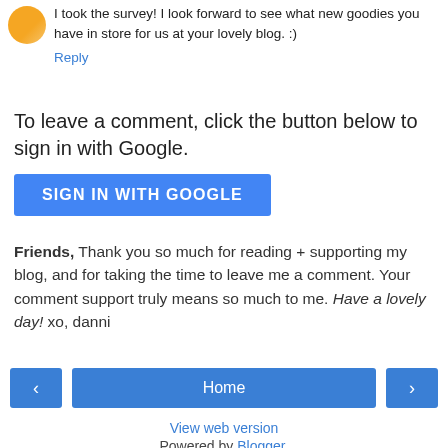I took the survey! I look forward to see what new goodies you have in store for us at your lovely blog. :)
Reply
To leave a comment, click the button below to sign in with Google.
[Figure (other): Blue 'SIGN IN WITH GOOGLE' button]
Friends, Thank you so much for reading + supporting my blog, and for taking the time to leave me a comment. Your comment support truly means so much to me. Have a lovely day! xo, danni
[Figure (other): Navigation row: left arrow button, Home button, right arrow button]
View web version
Powered by Blogger.